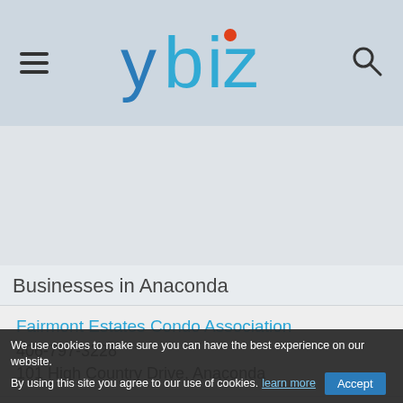[Figure (logo): ybiz logo with hamburger menu icon on left and search icon on right, on a light blue-grey header background]
[Figure (other): Advertisement/banner area (grey placeholder)]
Businesses in Anaconda
Fairmont Estates Condo Association
406-797-3228
101 High Country Drive, Anaconda
Fairmont Hot Springs Resort
406-797-3241
1500 Fairmont Road, Anaconda
We use cookies to make sure you can have the best experience on our website. By using this site you agree to our use of cookies. learn more  Accept